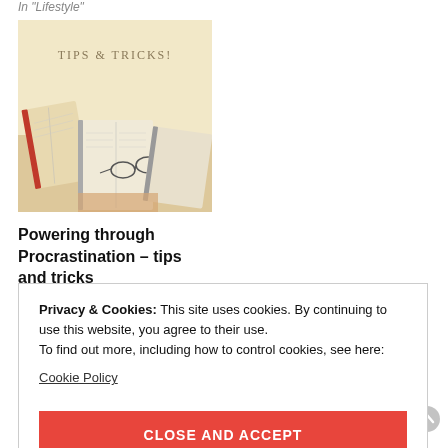In "Lifestyle"
[Figure (photo): Tips & Tricks image showing open books on a desk with glasses]
Powering through Procrastination – tips and tricks
May 5, 2021
In "Lifestyle"
Privacy & Cookies: This site uses cookies. By continuing to use this website, you agree to their use.
To find out more, including how to control cookies, see here:
Cookie Policy

CLOSE AND ACCEPT
[Figure (photo): Small thumbnail image at bottom left]